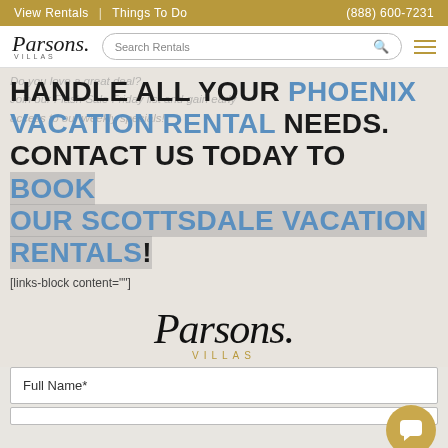View Rentals | Things To Do | (888) 600-7231
[Figure (logo): Parsons Villas logo with search bar and hamburger menu]
HANDLE ALL YOUR PHOENIX VACATION RENTAL NEEDS. CONTACT US TODAY TO BOOK OUR SCOTTSDALE VACATION RENTALS!
[links-block content=""]
[Figure (logo): Parsons Villas footer logo - script font with VILLAS in gold]
Full Name*